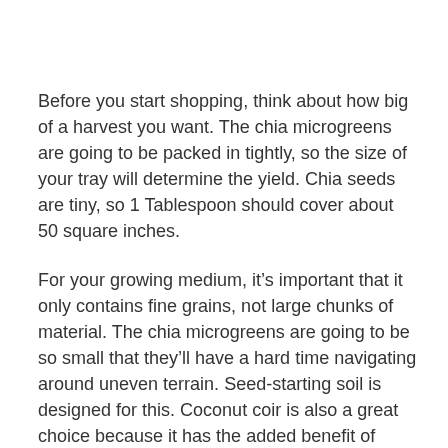Before you start shopping, think about how big of a harvest you want. The chia microgreens are going to be packed in tightly, so the size of your tray will determine the yield. Chia seeds are tiny, so 1 Tablespoon should cover about 50 square inches.
For your growing medium, it's important that it only contains fine grains, not large chunks of material. The chia microgreens are going to be so small that they'll have a hard time navigating around uneven terrain. Seed-starting soil is designed for this. Coconut coir is also a great choice because it has the added benefit of excellent drainage.